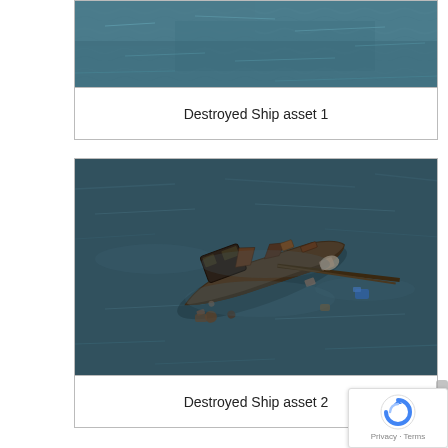[Figure (screenshot): Top portion of a 3D game scene showing ocean water surface (teal/dark blue) — the bottom part of a 'Destroyed Ship asset 1' figure, cropped at the top of the page.]
Destroyed Ship asset 1
[Figure (screenshot): 3D game render of a destroyed/wrecked small boat/ship viewed from above, surrounded by debris and wreckage floating on dark ocean water. The boat hull is dark brown/olive, with scattered parts and debris around it.]
Destroyed Ship asset 2